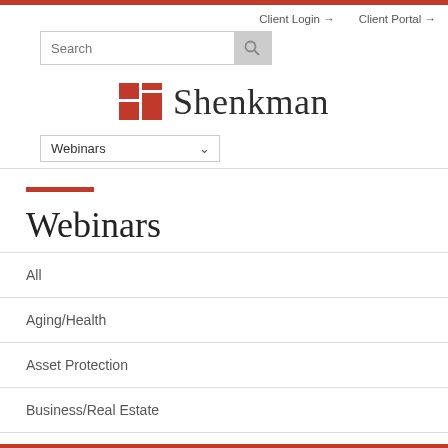Client Login → Client Portal →
[Figure (logo): Shenkman logo with red grid icon and text 'Shenkman']
Webinars (dropdown)
Webinars
All
Aging/Health
Asset Protection
Business/Real Estate